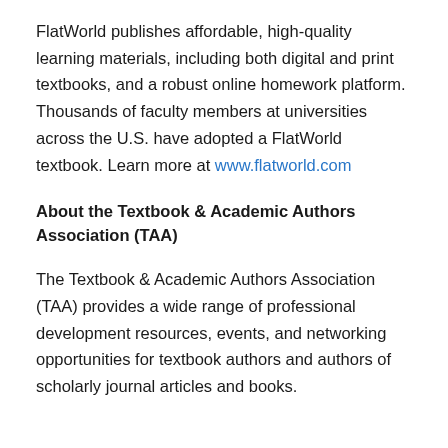FlatWorld publishes affordable, high-quality learning materials, including both digital and print textbooks, and a robust online homework platform. Thousands of faculty members at universities across the U.S. have adopted a FlatWorld textbook. Learn more at www.flatworld.com
About the Textbook & Academic Authors Association (TAA)
The Textbook & Academic Authors Association (TAA) provides a wide range of professional development resources, events, and networking opportunities for textbook authors and authors of scholarly journal articles and books.